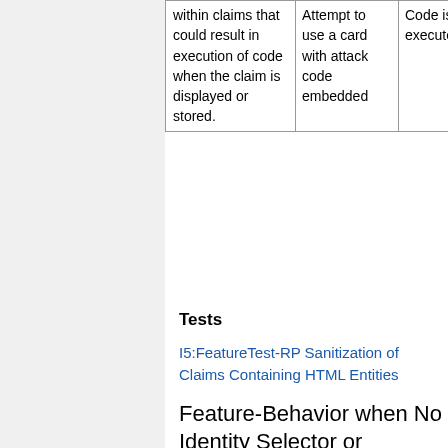|  |  | Code is not executed | Code is executed |
| --- | --- | --- | --- |
| within claims that could result in execution of code when the claim is displayed or stored. | Attempt to use a card with attack code embedded | Code is not executed | Code is executed |
Tests
I5:FeatureTest-RP Sanitization of Claims Containing HTML Entities
Feature-Behavior when No Identity Selector or Browser Add-On Installed